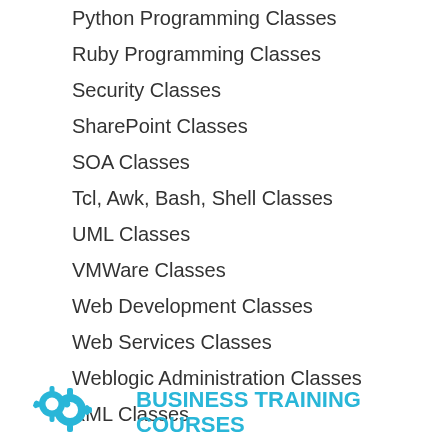Python Programming Classes
Ruby Programming Classes
Security Classes
SharePoint Classes
SOA Classes
Tcl, Awk, Bash, Shell Classes
UML Classes
VMWare Classes
Web Development Classes
Web Services Classes
Weblogic Administration Classes
XML Classes
[Figure (illustration): Two interlocking cyan gear icons representing Business Training Courses section]
BUSINESS TRAINING COURSES